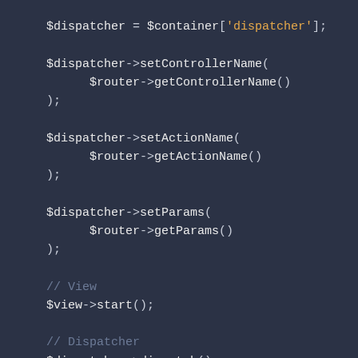$dispatcher = $container['dispatcher'];

$dispatcher->setControllerName(
    $router->getControllerName()
);

$dispatcher->setActionName(
    $router->getActionName()
);

$dispatcher->setParams(
    $router->getParams()
);

// View
$view->start();

// Dispatcher
$dispatcher->dispatch();

// View